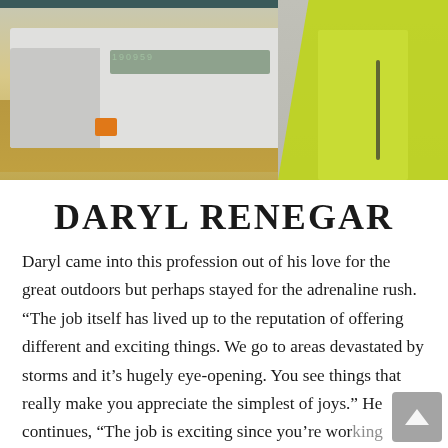[Figure (photo): A worker in a yellow/lime safety vest and white shirt standing in front of a white utility truck outdoors, with dirt/field background. Dark teal header bar at the top.]
DARYL RENEGAR
Daryl came into this profession out of his love for the great outdoors but perhaps stayed for the adrenaline rush. “The job itself has lived up to the reputation of offering different and exciting things. We go to areas devastated by storms and it’s hugely eye-opening. You see things that really make you appreciate the simplest of joys.” He continues, “The job is exciting since you’re working with and holding high voltage right in your hands